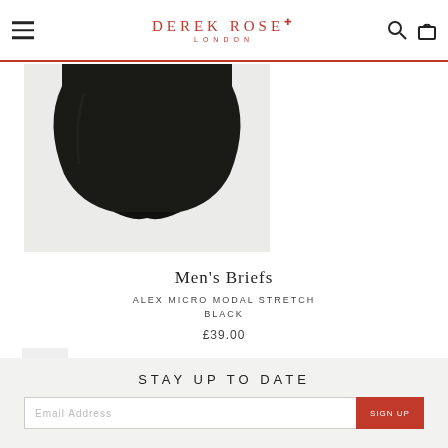DEREK ROSE LONDON
[Figure (photo): Men's briefs product photo — black micro modal stretch briefs on light grey background]
Men's Briefs
ALEX MICRO MODAL STRETCH
BLACK
£39.00
TOP
STAY UP TO DATE